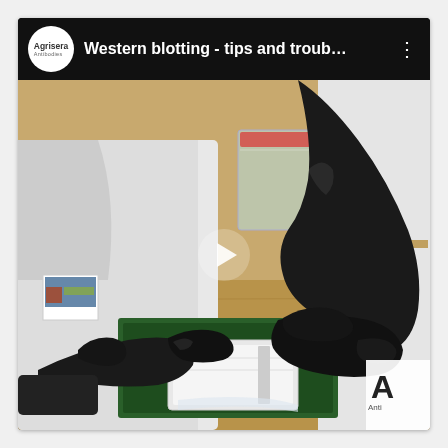[Figure (screenshot): YouTube video thumbnail screenshot showing a person wearing black nitrile gloves handling laboratory equipment (Western blotting apparatus with a green tray and white gel cassette) on a wooden lab bench. The video is titled 'Western blotting - tips and troub...' with the Agrisera Antibodies logo in the top-left corner. A white play button triangle is centered on the image. In the bottom-right corner, a partial 'A' with 'Anti...' text is visible as an Agrisera watermark.]